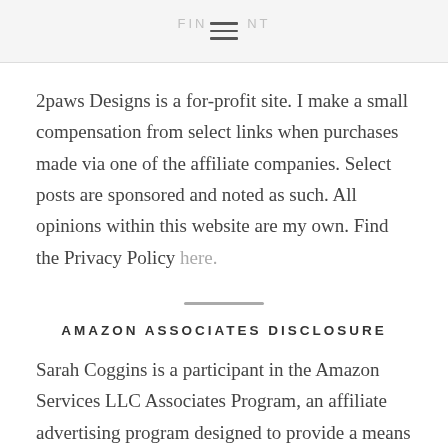FINEMENT
2paws Designs is a for-profit site. I make a small compensation from select links when purchases made via one of the affiliate companies. Select posts are sponsored and noted as such. All opinions within this website are my own. Find the Privacy Policy here.
AMAZON ASSOCIATES DISCLOSURE
Sarah Coggins is a participant in the Amazon Services LLC Associates Program, an affiliate advertising program designed to provide a means for sites to earn advertising